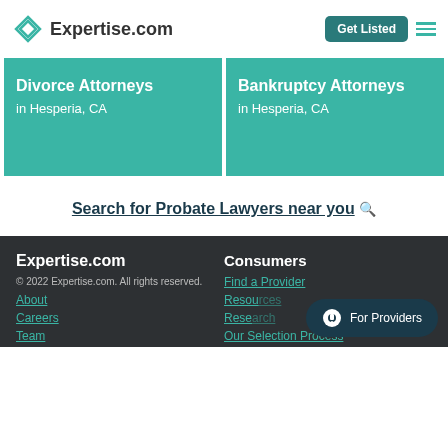Expertise.com
[Figure (illustration): Two teal cards side by side: 'Divorce Attorneys in Hesperia, CA' and 'Bankruptcy Attorneys in Hesperia, CA']
Search for Probate Lawyers near you
Expertise.com
© 2022 Expertise.com. All rights reserved.
About
Careers
Team
Consumers
Find a Provider
Resources
Research
Our Selection Process